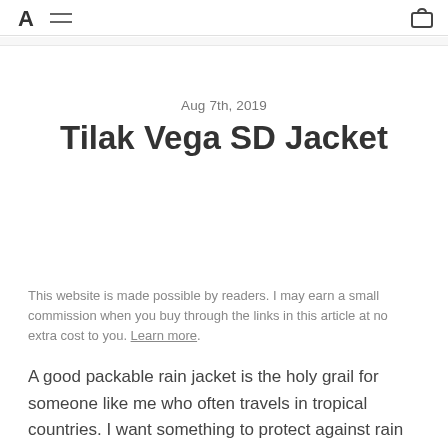Tilak Vega SD Jacket - blog navigation header
Aug 7th, 2019
Tilak Vega SD Jacket
This website is made possible by readers. I may earn a small commission when you buy through the links in this article at no extra cost to you. Learn more.
A good packable rain jacket is the holy grail for someone like me who often travels in tropical countries. I want something to protect against rain